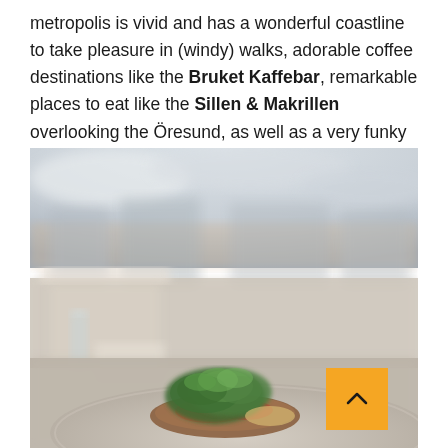metropolis is vivid and has a wonderful coastline to take pleasure in (windy) walks, adorable coffee destinations like the Bruket Kaffebar, remarkable places to eat like the Sillen & Makrillen overlooking the Öresund, as well as a very funky hotel: the Vault Lodge!
[Figure (photo): Outdoor restaurant scene showing a plate of food garnished with green herbs/salad on a round ceramic plate in the foreground, with blurred tables, chairs, a glass of water, and a coastal/urban skyline visible in the background under a cloudy sky.]